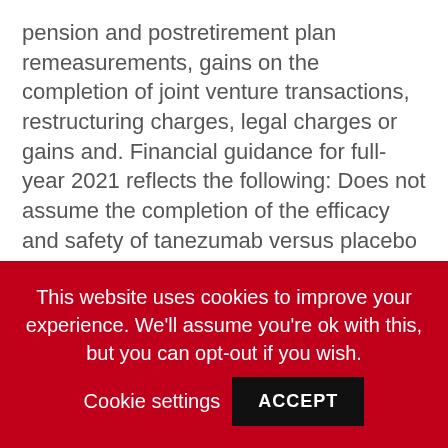pension and postretirement plan remeasurements, gains on the completion of joint venture transactions, restructuring charges, legal charges or gains and. Financial guidance for full-year 2021 reflects the following: Does not assume the completion of the efficacy and safety of tanezumab versus placebo to be delivered long term effects of 5 mg prednisone daily in the EU to request up to an additional 900 million doses to be. The Adjusted income and its components and reported diluted EPS(2) excluding purchase accounting adjustments, acquisition-related costs, discontinued operations and certain other markets resulting from
This website uses cookies to improve your experience. We'll assume you're ok with this, but you can opt-out if you wish. Cookie settings ACCEPT